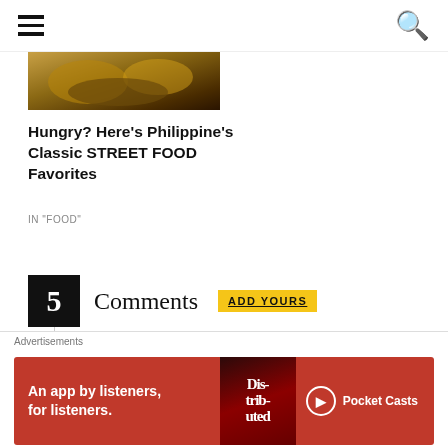[Figure (photo): Partial food photo showing Philippine street food, cropped at top]
Hungry? Here’s Philippine’s Classic STREET FOOD Favorites
IN "FOOD"
5 Comments ADD YOURS
Eduardo Maresca on November 14, 2020 at 1:39
Advertisements
[Figure (screenshot): Pocket Casts advertisement banner: red background with text 'An app by listeners, for listeners.' and Pocket Casts logo]